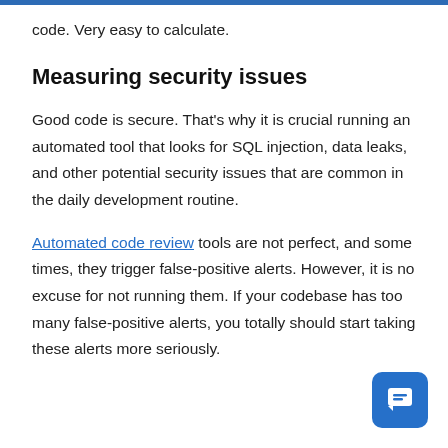code. Very easy to calculate.
Measuring security issues
Good code is secure. That's why it is crucial running an automated tool that looks for SQL injection, data leaks, and other potential security issues that are common in the daily development routine.
Automated code review tools are not perfect, and some times, they trigger false-positive alerts. However, it is no excuse for not running them. If your codebase has too many false-positive alerts, you totally should start taking these alerts more seriously.
[Figure (other): Blue chat/messaging button icon in the bottom right corner]